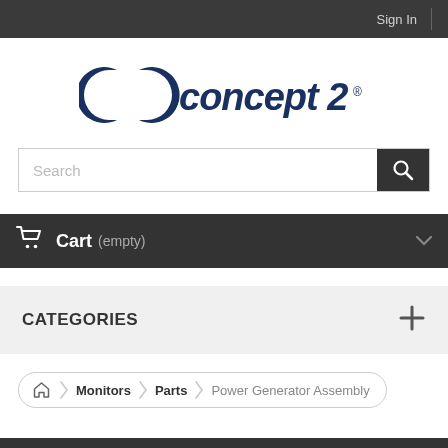Sign In
[Figure (logo): Concept 2 logo with two interlocking C shapes and stylized text 'concept 2']
Search
Cart (empty)
CATEGORIES
Home > Monitors > Parts > Power Generator Assembly